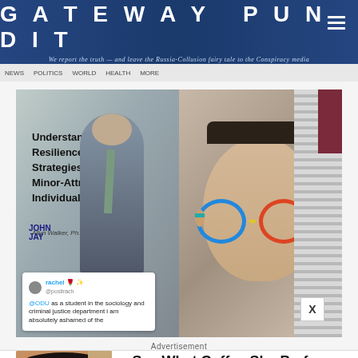GATEWAY PUNDIT
We report the truth — and leave the Russia-Collusion fairy tale to the Conspiracy media
[Figure (photo): Composite photo: left side shows person standing in front of a presentation slide reading 'Understanding Resilience Strategies among Minor-Attracted Individuals' by Allyn Walker, Ph.D., John Jay. Right side shows close-up face of person wearing colorful rainbow-frame glasses.]
[Figure (screenshot): Tweet from rachel (@postirach): '@ODU as a student in the sociology and criminal justice department i am absolutely ashamed of the...']
Advertisement
[Figure (photo): Advertisement image showing a person drinking coffee]
See What Coffee She Prefers And I'll Tell You Who She Is
Herbeauty